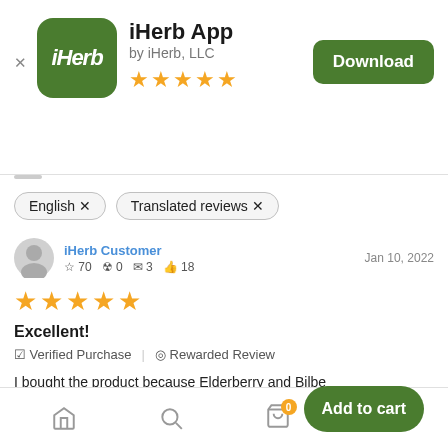[Figure (logo): iHerb app icon - green rounded square with iHerb text in white italic]
iHerb App
by iHerb, LLC
[Figure (other): 5 gold stars rating]
[Figure (other): Download button - green rounded rectangle]
English ×   Translated reviews ×
iHerb Customer   Jan 10, 2022   ☆ 70  ⊙ 0  ⊡ 3  👍 18
[Figure (other): 5 gold stars review rating]
Excellent!
✓ Verified Purchase  |  ⊙ Rewarded Review
I bought the product because Elderberry and Bilberry compounds are very good for my health, especially my eye... Nature's Way products trusting their products to work with oth
[Figure (other): Add to cart button - green rounded pill]
[Figure (other): Bottom navigation bar with home, search, cart (badge 0), profile icons]